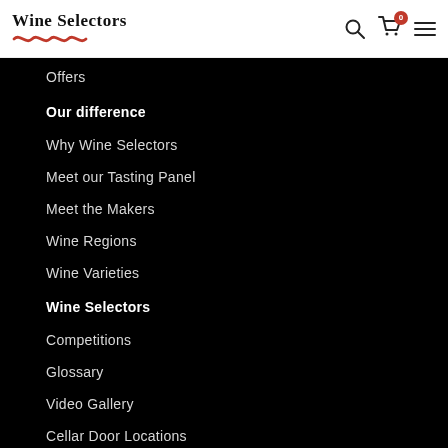Wine Selectors — navigation header with logo, search, cart (0), and menu icons
Offers
Our difference
Why Wine Selectors
Meet our Tasting Panel
Meet the Makers
Wine Regions
Wine Varieties
Wine Selectors
Competitions
Glossary
Video Gallery
Cellar Door Locations
Competition Winners